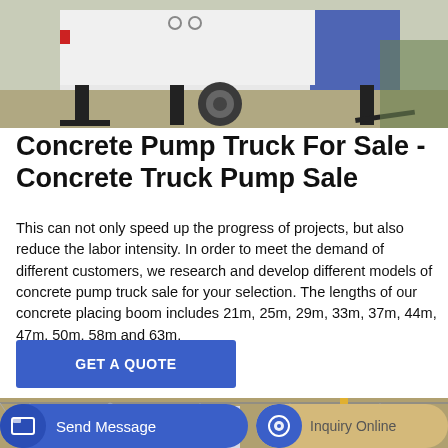[Figure (photo): Side view of a concrete pump truck trailer parked on gravel, showing white and blue body with black support legs and a wheel.]
Concrete Pump Truck For Sale - Concrete Truck Pump Sale
This can not only speed up the progress of projects, but also reduce the labor intensity. In order to meet the demand of different customers, we research and develop different models of concrete pump truck sale for your selection. The lengths of our concrete placing boom includes 21m, 25m, 29m, 33m, 37m, 44m, 47m, 50m, 58m and 63m.
[Figure (photo): Interior of a large industrial factory building with machinery and equipment visible.]
GET A QUOTE
Send Message
Inquiry Online